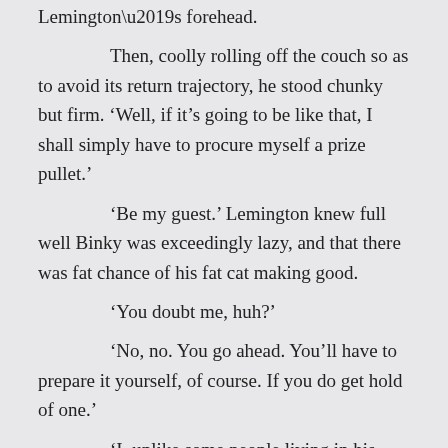Lemington's forehead.
Then, coolly rolling off the couch so as to avoid its return trajectory, he stood chunky but firm. ‘Well, if it’s going to be like that, I shall simply have to procure myself a prize pullet.’
‘Be my guest.’ Lemington knew full well Binky was exceedingly lazy, and that there was fat chance of his fat cat making good.
‘You doubt me, huh?’
‘No, no. You go ahead. You’ll have to prepare it yourself, of course. If you do get hold of one.’
‘I, unlike some people living in his house with me, whose names begin with ‘Lem’ and end in ‘ington’, am an excellent chef. I merely choose to let my talents go unnoticed